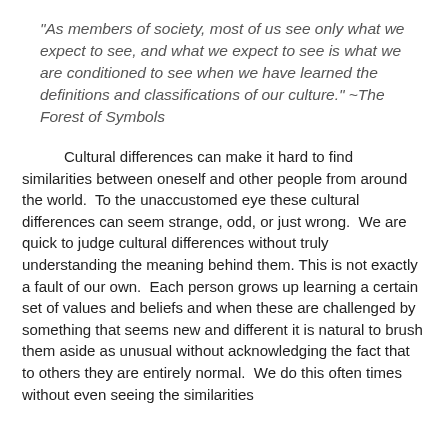“As members of society, most of us see only what we expect to see, and what we expect to see is what we are conditioned to see when we have learned the definitions and classifications of our culture.” ~The Forest of Symbols
Cultural differences can make it hard to find similarities between oneself and other people from around the world. To the unaccustomed eye these cultural differences can seem strange, odd, or just wrong. We are quick to judge cultural differences without truly understanding the meaning behind them. This is not exactly a fault of our own. Each person grows up learning a certain set of values and beliefs and when these are challenged by something that seems new and different it is natural to brush them aside as unusual without acknowledging the fact that to others they are entirely normal. We do this often times without even seeing the similarities